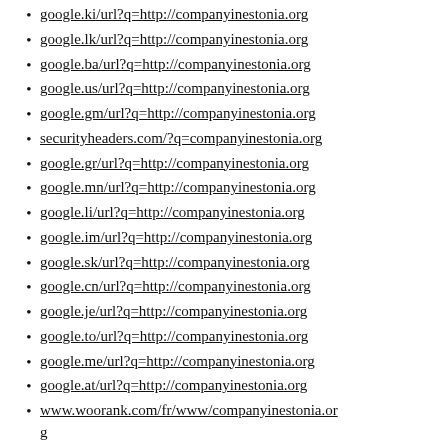google.ki/url?q=http://companyinestonia.org
google.lk/url?q=http://companyinestonia.org
google.ba/url?q=http://companyinestonia.org
google.us/url?q=http://companyinestonia.org
google.gm/url?q=http://companyinestonia.org
securityheaders.com/?q=companyinestonia.org
google.gr/url?q=http://companyinestonia.org
google.mn/url?q=http://companyinestonia.org
google.li/url?q=http://companyinestonia.org
google.im/url?q=http://companyinestonia.org
google.sk/url?q=http://companyinestonia.org
google.cn/url?q=http://companyinestonia.org
google.je/url?q=http://companyinestonia.org
google.to/url?q=http://companyinestonia.org
google.me/url?q=http://companyinestonia.org
google.at/url?q=http://companyinestonia.org
www.woorank.com/fr/www/companyinestonia.org
miamibeach411.com/?URL=companyinestonia.org